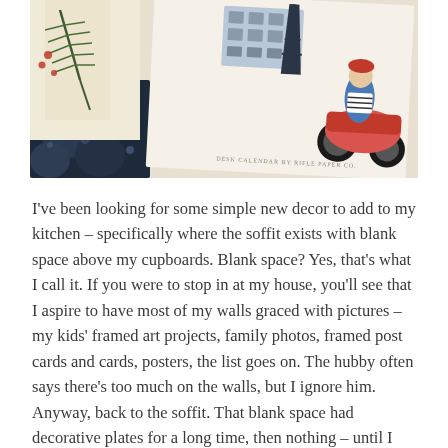[Figure (photo): A photo of illustrated desk calendar pages from Rifle Paper Co., showing a Parisian scene with the Eiffel Tower, a person on a red scooter, buildings, and decorative illustrated cards with botanical/floral motifs. Text on the calendar reads 'DESK CALENDAR BY RIFLE PAPER CO.']
I've been looking for some simple new decor to add to my kitchen – specifically where the soffit exists with blank space above my cupboards.  Blank space?  Yes, that's what I call it.  If you were to stop in at my house, you'll see that I aspire to have most of my walls graced with pictures – my kids' framed art projects, family photos, framed post cards and cards, posters, the list goes on.  The hubby often says there's too much on the walls, but I ignore him.  Anyway, back to the soffit.  That blank space had decorative plates for a long time, then nothing – until I